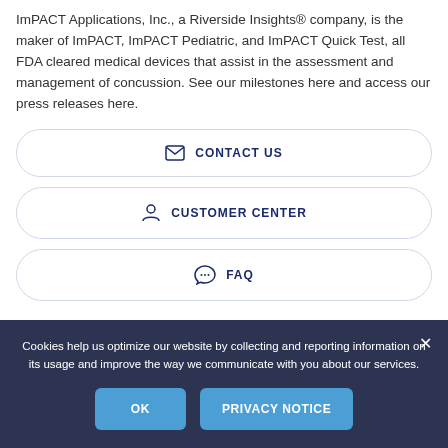ImPACT Applications, Inc., a Riverside Insights® company, is the maker of ImPACT, ImPACT Pediatric, and ImPACT Quick Test, all FDA cleared medical devices that assist in the assessment and management of concussion. See our milestones here and access our press releases here.
CONTACT US
CUSTOMER CENTER
FAQ
Cookies help us optimize our website by collecting and reporting information on its usage and improve the way we communicate with you about our services.
OK
PRIVACY NOTICE